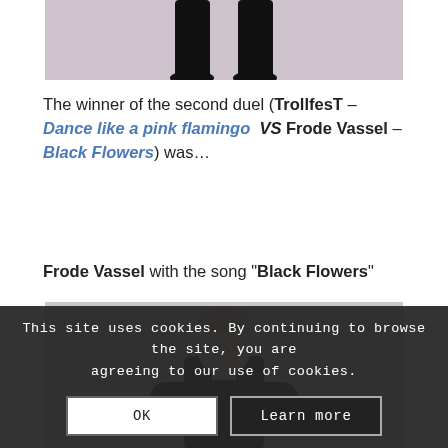[Figure (photo): Cropped photo showing the lower body/legs of a person in dark clothing, against a light purple/mauve background.]
The winner of the second duel (TrollfesT – Dance like a pink flamingo  VS  Frode Vassel – Black Flowers) was...
Frode Vassel with the song “Black Flowers”
[Figure (photo): Photo of a bald man in a black leather jacket with arms crossed, seated, against a light purple/mauve background. This is Frode Vassel.]
This site uses cookies. By continuing to browse the site, you are agreeing to our use of cookies.